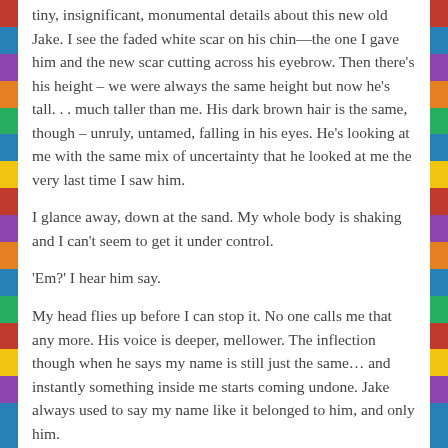tiny, insignificant, monumental details about this new old Jake. I see the faded white scar on his chin—the one I gave him and the new scar cutting across his eyebrow. Then there's his height – we were always the same height but now he's tall. . . much taller than me. His dark brown hair is the same, though – unruly, untamed, falling in his eyes. He's looking at me with the same mix of uncertainty that he looked at me the very last time I saw him.
I glance away, down at the sand. My whole body is shaking and I can't seem to get it under control.
'Em?' I hear him say.
My head flies up before I can stop it. No one calls me that any more. His voice is deeper, mellower. The inflection though when he says my name is still just the same… and instantly something inside me starts coming undone. Jake always used to say my name like it belonged to him, and only him.